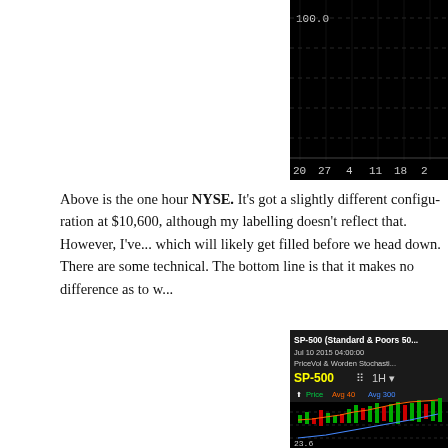[Figure (screenshot): Top portion of a NYSE one-hour stock chart with black background showing x-axis date labels: 20, 27, 4, 11, 18, 20 and y-axis label 100.0, with dashed gridlines.]
Above is the one hour NYSE. It's got a slightly different configuration at $10,600, although my labelling doesn't reflect that. However, I've... which will likely get filled before we head down. There are some... technical. The bottom line is that it makes no difference as to w...
[Figure (screenshot): Bottom SP-500 (Standard & Poors 500) one-hour candlestick chart screenshot showing: title 'SP-500 (Standard & Poors 50...', date 'Jul 10 2015 04:00:00', 'PriceVol & Worden Stochasti...', symbol 'SP-500 1H' with dropdown, legend showing Price (green), Avg 40 (red/orange), Avg 300 (blue), y-axis label 23.6, candlestick chart with green and red candles on black background.]